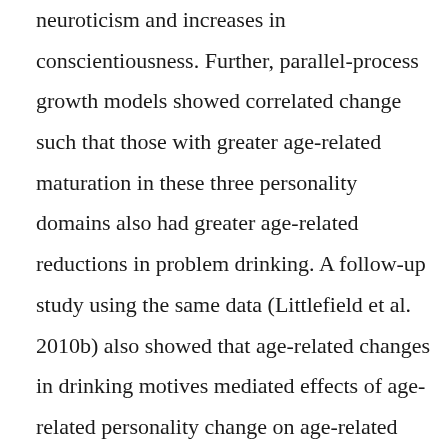neuroticism and increases in conscientiousness. Further, parallel-process growth models showed correlated change such that those with greater age-related maturation in these three personality domains also had greater age-related reductions in problem drinking. A follow-up study using the same data (Littlefield et al. 2010b) also showed that age-related changes in drinking motives mediated effects of age-related personality change on age-related problem-drinking reductions. Specifically, reductions in neuroticism and impulsivity predicted reductions in coping-related drinking motives, wh [Back to Top ↑] predicted reductions in problem drinking. These are